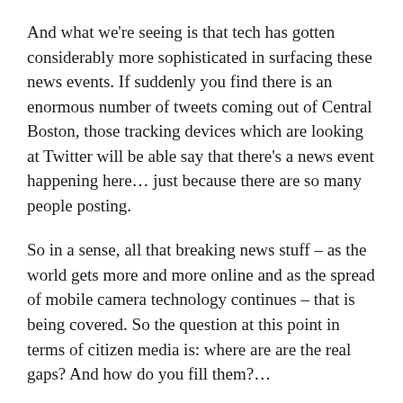And what we're seeing is that tech has gotten considerably more sophisticated in surfacing these news events. If suddenly you find there is an enormous number of tweets coming out of Central Boston, those tracking devices which are looking at Twitter will be able say that there's a news event happening here… just because there are so many people posting.
So in a sense, all that breaking news stuff – as the world gets more and more online and as the spread of mobile camera technology continues – that is being covered. So the question at this point in terms of citizen media is: where are are the real gaps? And how do you fill them?…
[The problem] is that the availability of this kind of content [social media images and tweets] exacerbates the the original problem… the most interesting news is usually that which you cannot capture in a crowd-sourced, everybody-and-their-cellphone kind of way. Every so often this can